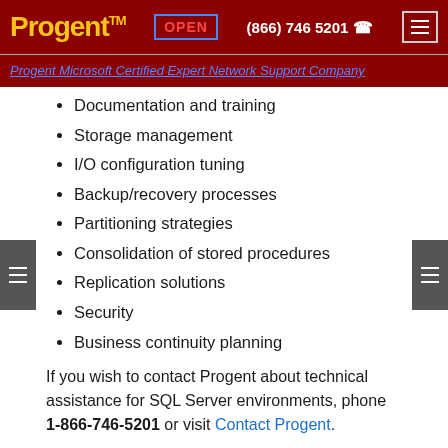Progent™  OPEN  (866) 746 5201
Progent Microsoft Certified Expert Network Support Company
Documentation and training
Storage management
I/O configuration tuning
Backup/recovery processes
Partitioning strategies
Consolidation of stored procedures
Replication solutions
Security
Business continuity planning
If you wish to contact Progent about technical assistance for SQL Server environments, phone 1-866-746-5201 or visit Contact Progent.
Progent's Professional Support Services for Microsoft-based Technology
For companies of any size in Brisbane Queensland